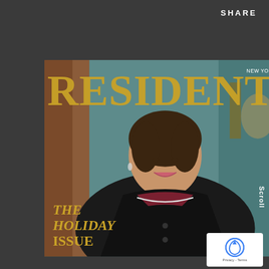SHARE
[Figure (photo): Magazine cover of RESIDENT showing a woman in a black blazer with velvet collar and diamond necklace, smiling, set against a teal/antique interior background. The large gold title RESIDENT appears across the top. Bottom left shows 'THE HOLIDAY ISSUE' in gold italic lettering. Top right has small text 'NEW YORK'.]
Scroll
[Figure (logo): reCAPTCHA logo with Privacy - Terms text]